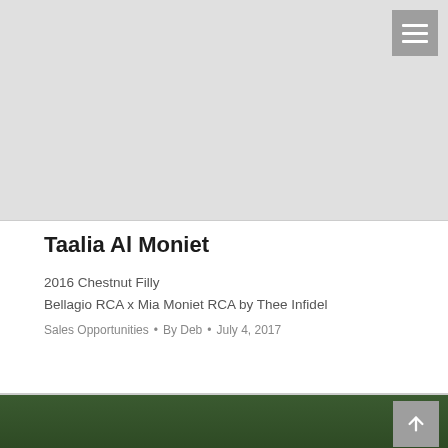[Figure (screenshot): Gray placeholder image area at top of page representing a header image]
Taalia Al Moniet
2016 Chestnut Filly
Bellagio RCA x Mia Moniet RCA by Thee Infidel
Sales Opportunities • By Deb • July 4, 2017
[Figure (photo): Bottom portion of an outdoor photo with green foliage background, partially visible]